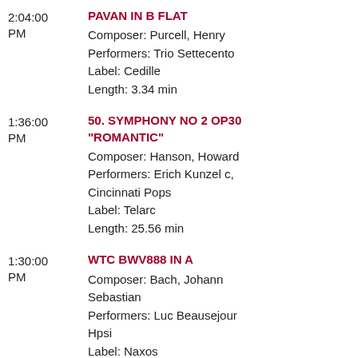2:04:00 PM | PAVAN IN B FLAT | Composer: Purcell, Henry | Performers: Trio Settecento | Label: Cedille | Length: 3.34 min
1:36:00 PM | 50. SYMPHONY NO 2 OP30 "ROMANTIC" | Composer: Hanson, Howard | Performers: Erich Kunzel c, Cincinnati Pops | Label: Telarc | Length: 25.56 min
1:30:00 PM | WTC BWV888 IN A | Composer: Bach, Johann Sebastian | Performers: Luc Beausejour Hpsi | Label: Naxos | Length: 3.45 min
1:07:00 PM | 51. SYMPHONY NO 1 "AFRO-